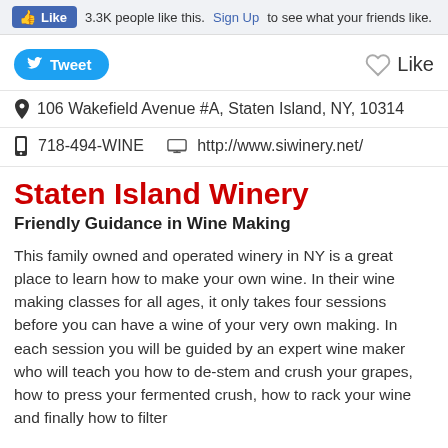[Figure (screenshot): Facebook Like button widget showing 3.3K likes with Sign Up link]
[Figure (screenshot): Twitter Tweet button and heart Like button row]
106 Wakefield Avenue #A, Staten Island, NY, 10314
718-494-WINE   http://www.siwinery.net/
Staten Island Winery
Friendly Guidance in Wine Making
This family owned and operated winery in NY is a great place to learn how to make your own wine. In their wine making classes for all ages, it only takes four sessions before you can have a wine of your very own making. In each session you will be guided by an expert wine maker who will teach you how to de-stem and crush your grapes, how to press your fermented crush, how to rack your wine and finally how to filter